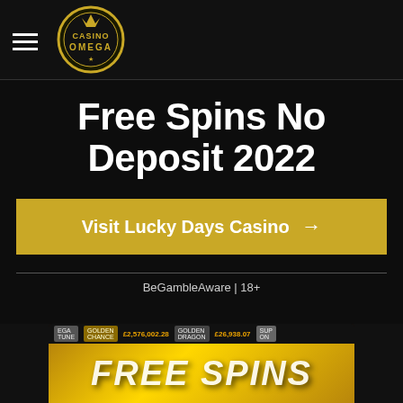[Figure (logo): Casino Omega logo — circular gold and dark badge with crown and text 'Casino Omega']
Free Spins No Deposit 2022
Visit Lucky Days Casino →
BeGambleAware | 18+
[Figure (screenshot): Casino game screenshot showing jackpot amounts and FREE SPINS text in gold lettering over a dark background]